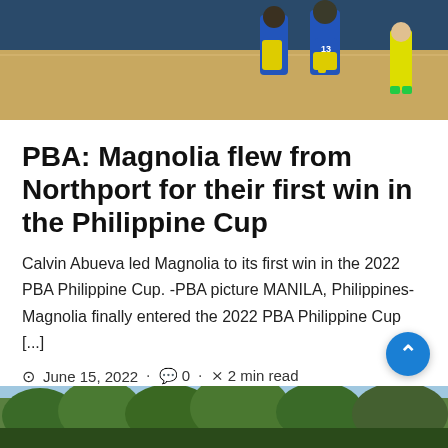[Figure (photo): Basketball players on a court, player wearing number 13 in blue and yellow uniform]
PBA: Magnolia flew from Northport for their first win in the Philippine Cup
Calvin Abueva led Magnolia to its first win in the 2022 PBA Philippine Cup. -PBA picture MANILA, Philippines-Magnolia finally entered the 2022 PBA Philippine Cup [...]
June 15, 2022 · 0 · 2 min read
[Figure (photo): Outdoor landscape photo with trees and green foliage]